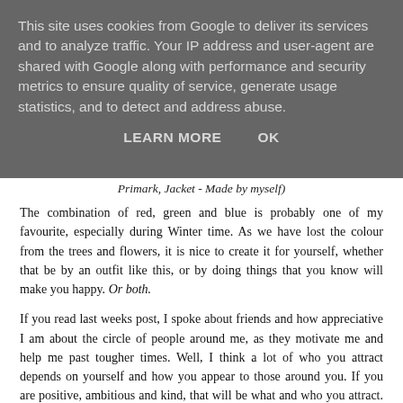This site uses cookies from Google to deliver its services and to analyze traffic. Your IP address and user-agent are shared with Google along with performance and security metrics to ensure quality of service, generate usage statistics, and to detect and address abuse.
LEARN MORE   OK
Primark, Jacket - Made by myself)
The combination of red, green and blue is probably one of my favourite, especially during Winter time. As we have lost the colour from the trees and flowers, it is nice to create it for yourself, whether that be by an outfit like this, or by doing things that you know will make you happy. Or both.
If you read last weeks post, I spoke about friends and how appreciative I am about the circle of people around me, as they motivate me and help me past tougher times. Well, I think a lot of who you attract depends on yourself and how you appear to those around you. If you are positive, ambitious and kind, that will be what and who you attract. Even though, obviously it is easier to write these things, than be these things most of the time, I am...